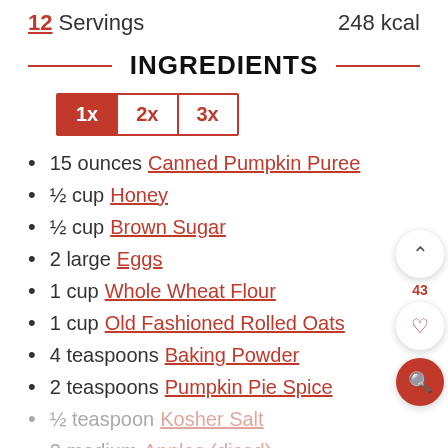12 Servings   248 kcal
INGREDIENTS
1x  2x  3x
15 ounces Canned Pumpkin Puree
½ cup Honey
½ cup Brown Sugar
2 large Eggs
1 cup Whole Wheat Flour
1 cup Old Fashioned Rolled Oats
4 teaspoons Baking Powder
2 teaspoons Pumpkin Pie Spice
½ teaspoon Kosher Salt
2 medium Apples (diced)